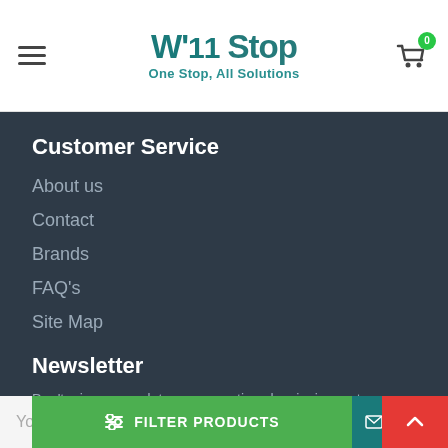W'11 Stop — One Stop, All Solutions
Customer Service
About us
Contact
Brands
FAQ's
Site Map
Newsletter
Don't miss any updates or promotions by signing up to our newsletter.
Your email
SEND
FILTER PRODUCTS